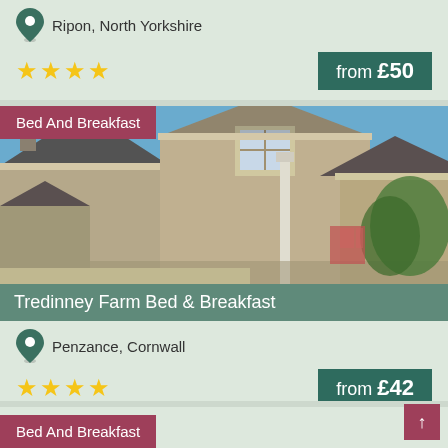Ripon, North Yorkshire
[Figure (infographic): 4 yellow stars rating]
from £50
Bed And Breakfast
[Figure (photo): Photo of Tredinney Farm Bed & Breakfast building exterior with blue sky]
Tredinney Farm Bed & Breakfast
Penzance, Cornwall
[Figure (infographic): 4 yellow stars rating]
from £42
Bed And Breakfast